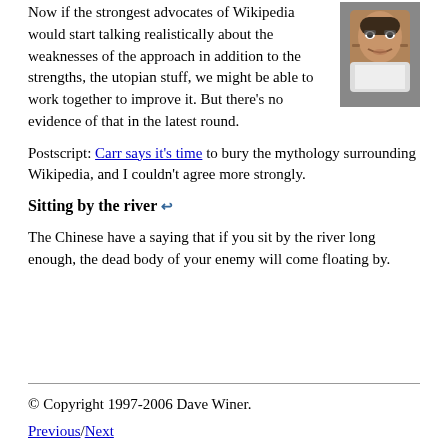Now if the strongest advocates of Wikipedia would start talking realistically about the weaknesses of the approach in addition to the strengths, the utopian stuff, we might be able to work together to improve it. But there's no evidence of that in the latest round.
[Figure (photo): Headshot photo of a bearded man with glasses]
Postscript: Carr says it's time to bury the mythology surrounding Wikipedia, and I couldn't agree more strongly.
Sitting by the river ↵
The Chinese have a saying that if you sit by the river long enough, the dead body of your enemy will come floating by.
© Copyright 1997-2006 Dave Winer.
Previous/Next